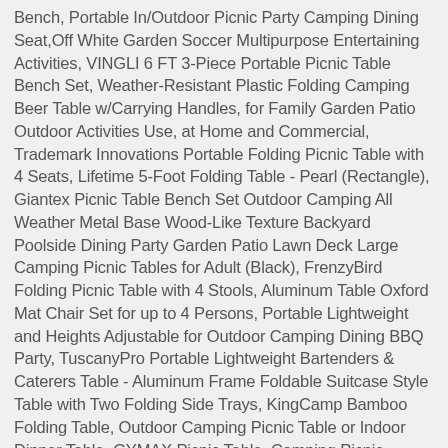Bench, Portable In/Outdoor Picnic Party Camping Dining Seat,Off White Garden Soccer Multipurpose Entertaining Activities, VINGLI 6 FT 3-Piece Portable Picnic Table Bench Set, Weather-Resistant Plastic Folding Camping Beer Table w/Carrying Handles, for Family Garden Patio Outdoor Activities Use, at Home and Commercial, Trademark Innovations Portable Folding Picnic Table with 4 Seats, Lifetime 5-Foot Folding Table - Pearl (Rectangle), Giantex Picnic Table Bench Set Outdoor Camping All Weather Metal Base Wood-Like Texture Backyard Poolside Dining Party Garden Patio Lawn Deck Large Camping Picnic Tables for Adult (Black), FrenzyBird Folding Picnic Table with 4 Stools, Aluminum Table Oxford Mat Chair Set for up to 4 Persons, Portable Lightweight and Heights Adjustable for Outdoor Camping Dining BBQ Party, TuscanyPro Portable Lightweight Bartenders & Caterers Table - Aluminum Frame Foldable Suitcase Style Table with Two Folding Side Trays, KingCamp Bamboo Folding Table, Outdoor Camping Picnic Table or Indoor Dinner Table, GYMAX Picnic Table, Camping Picnic Tables Bench Set for Outside Backyard Garden Patio Dining Party (Black),